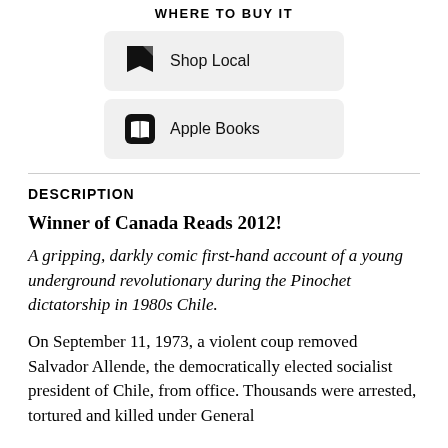WHERE TO BUY IT
[Figure (other): Shop Local button with book icon]
[Figure (other): Apple Books button with apple books icon]
DESCRIPTION
Winner of Canada Reads 2012!
A gripping, darkly comic first-hand account of a young underground revolutionary during the Pinochet dictatorship in 1980s Chile.
On September 11, 1973, a violent coup removed Salvador Allende, the democratically elected socialist president of Chile, from office. Thousands were arrested, tortured and killed under General